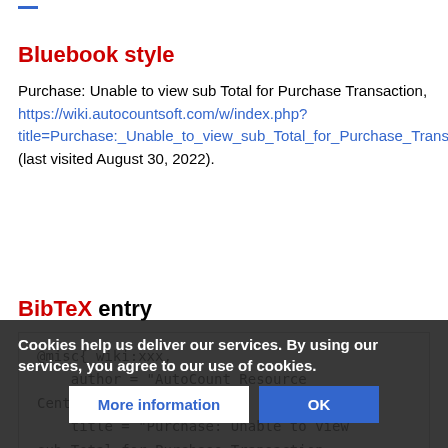—
Bluebook style
Purchase: Unable to view sub Total for Purchase Transaction, https://wiki.autocountsoft.com/w/index.php?title=Purchase:_Unable_to_view_sub_Total_for_Purchase_Transaction&oldid=13707 (last visited August 30, 2022).
BibTeX entry
@misc{ wiki:xxx,
  author = "AutoCount Resource Center",
  title = "Purchase: Unable to view sub Total for Purchase Transaction ---
  AutoCount ...